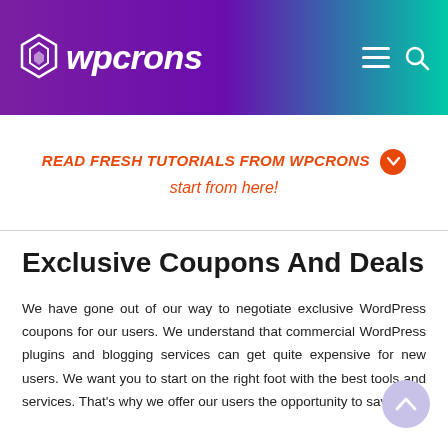[Figure (logo): wpcrons logo with geometric diamond icon and italic bold text on purple-to-green gradient header bar with hamburger menu and search icons]
READ FRESH TUTORIALS FROM WPCRONS ⌄ start from here!
Exclusive Coupons And Deals
We have gone out of our way to negotiate exclusive WordPress coupons for our users. We understand that commercial WordPress plugins and blogging services can get quite expensive for new users. We want you to start on the right foot with the best tools and services. That's why we offer our users the opportunity to save